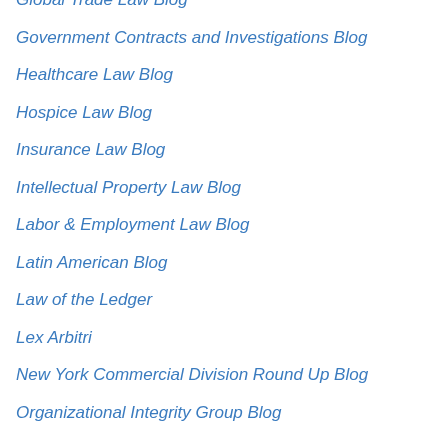Global Trade Law Blog
Government Contracts and Investigations Blog
Healthcare Law Blog
Hospice Law Blog
Insurance Law Blog
Intellectual Property Law Blog
Labor & Employment Law Blog
Latin American Blog
Law of the Ledger
Lex Arbitri
New York Commercial Division Round Up Blog
Organizational Integrity Group Blog